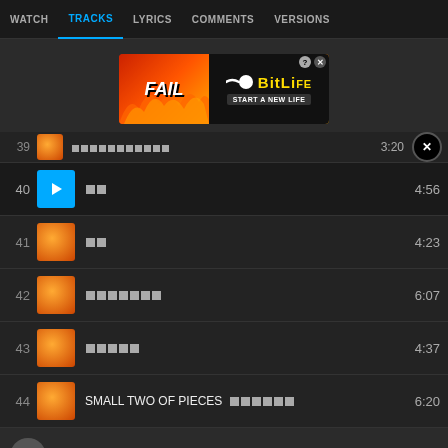WATCH | TRACKS | LYRICS | COMMENTS | VERSIONS
[Figure (screenshot): BitLife advertisement banner: FAIL text with cartoon character, BitLife Start a New Life promo]
39 [thumbnail] [Japanese text] 3:20
40 [play button] [Japanese text] 4:56
41 [thumbnail] [Japanese text] 4:23
42 [thumbnail] [Japanese text] 6:07
43 [thumbnail] [Japanese text] 4:37
44 [thumbnail] SMALL TWO OF PIECES [Japanese text] 6:20
Add a comment...